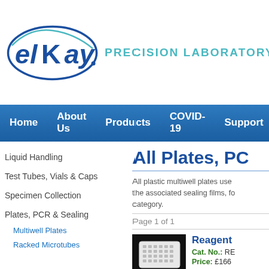[Figure (logo): Elkay logo with swoosh oval around text, dark blue text]
PRECISION LABORATORY CONSUMA
Home   About Us   Products   COVID-19   Support
Liquid Handling
Test Tubes, Vials & Caps
Specimen Collection
Plates, PCR & Sealing
Multiwell Plates
Racked Microtubes
All Plates, PC
All plastic multiwell plates used the associated sealing films, fo category.
Page 1 of 1
[Figure (photo): White multiwell plate on black background]
Reagent
Cat. No.: RE
Price: £166